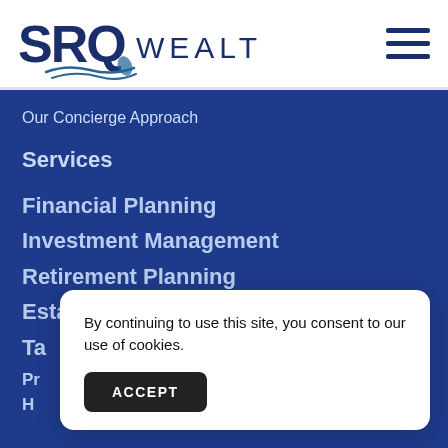[Figure (logo): SRQ Wealth logo with dark blue 'SRQ' in bold and 'WEALTH' in spaced lettering, with swoosh/wave graphic underneath]
[Figure (other): Hamburger menu icon with three horizontal dark blue lines]
Our Concierge Approach
Services
Financial Planning
Investment Management
Retirement Planning
Estate Planning
Ta
Pr
H
By continuing to use this site, you consent to our use of cookies.
ACCEPT